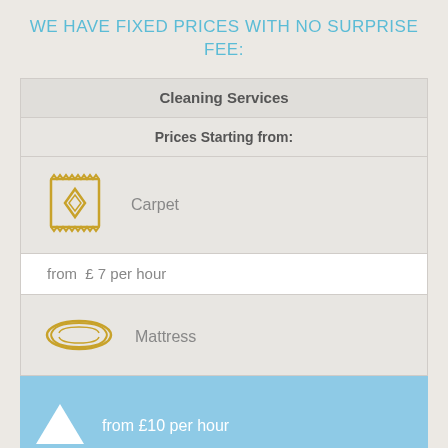WE HAVE FIXED PRICES WITH NO SURPRISE FEE:
| Cleaning Services | Prices Starting from: |
| --- | --- |
| Carpet (icon) |  |
| from  £ 7 per hour |  |
| Mattress (icon) |  |
| from £10 per hour |  |
| (third service icon partial) |  |